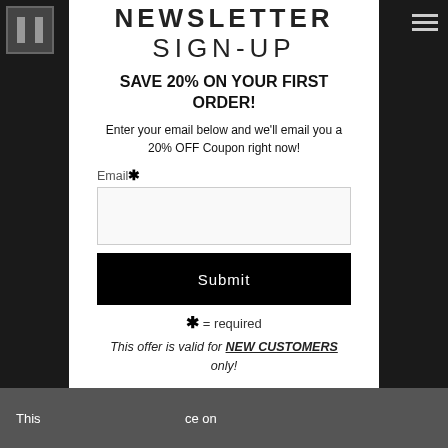NEWSLETTER SIGN-UP
SAVE 20% ON YOUR FIRST ORDER!
Enter your email below and we'll email you a 20% OFF Coupon right now!
Email* (input field)
Submit
* = required
This offer is valid for NEW CUSTOMERS only!